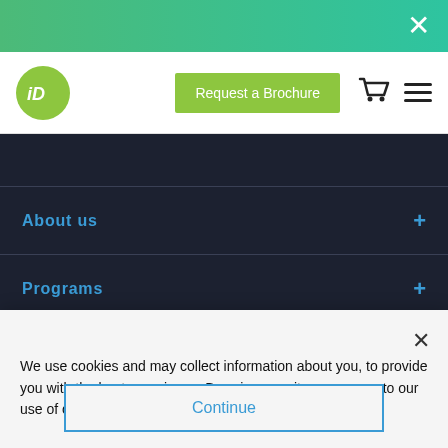× (close button top right)
[Figure (logo): iD logo — green circle with iD text in white]
Request a Brochure
About us +
Programs +
Course topics +
We use cookies and may collect information about you, to provide you with the best experience. By using our site, you agree to our use of cookies. Click HERE to learn more.
Continue